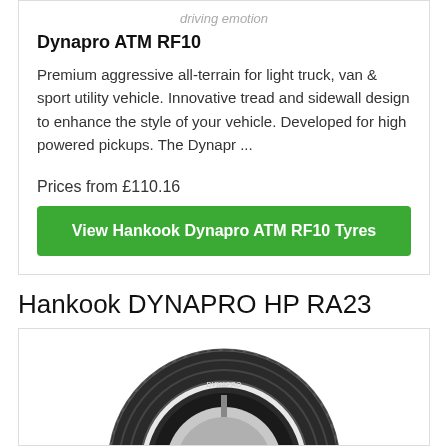driving emotion
Dynapro ATM RF10
Premium aggressive all-terrain for light truck, van & sport utility vehicle. Innovative tread and sidewall design to enhance the style of your vehicle. Developed for high powered pickups. The Dynapr ...
Prices from £110.16
View Hankook Dynapro ATM RF10 Tyres
Hankook DYNAPRO HP RA23
[Figure (photo): Hankook DYNAPRO HP RA23 tyre image, partial view of tyre from below]